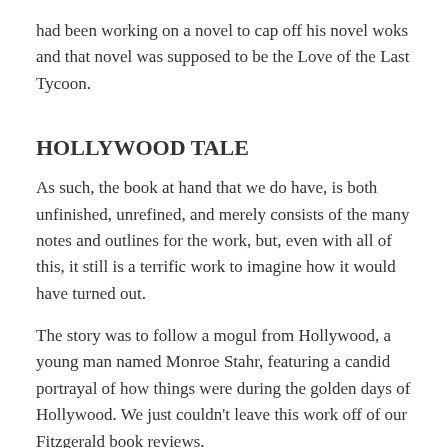had been working on a novel to cap off his novel woks and that novel was supposed to be the Love of the Last Tycoon.
HOLLYWOOD TALE
As such, the book at hand that we do have, is both unfinished, unrefined, and merely consists of the many notes and outlines for the work, but, even with all of this, it still is a terrific work to imagine how it would have turned out.
The story was to follow a mogul from Hollywood, a young man named Monroe Stahr, featuring a candid portrayal of how things were during the golden days of Hollywood. We just couldn't leave this work off of our Fitzgerald book reviews.